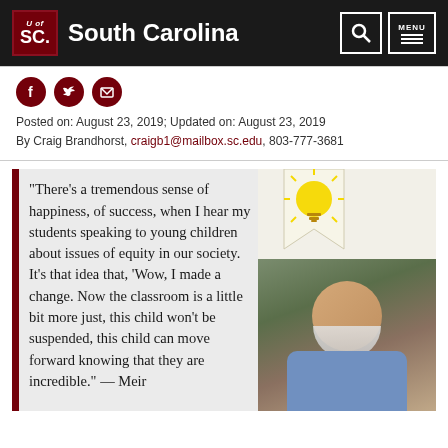University of South Carolina
Posted on: August 23, 2019; Updated on: August 23, 2019
By Craig Brandhorst, craigb1@mailbox.sc.edu, 803-777-3681
[Figure (photo): Middle-aged man with a white beard wearing a blue shirt, smiling outdoors with green foliage in the background. A lightbulb icon with a bookmark ribbon banner overlay appears in the top-left area of the image.]
“There’s a tremendous sense of happiness, of success, when I hear my students speaking to young children about issues of equity in our society. It’s that idea that, ‘Wow, I made a change. Now the classroom is a little bit more just, this child won’t be suspended, this child can move forward knowing that they are incredible.” — Meir